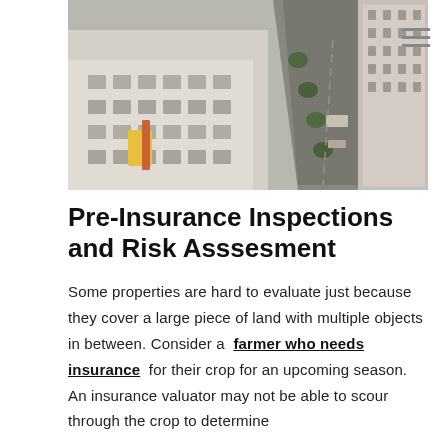[Figure (photo): Aerial view of a city showing rooftops with HVAC units and a street with buildings on both sides, photographed from above at an angle.]
Pre-Insurance Inspections and Risk Asssesment
Some properties are hard to evaluate just because they cover a large piece of land with multiple objects in between. Consider a farmer who needs insurance for their crop for an upcoming season. An insurance valuator may not be able to scour through the crop to determine